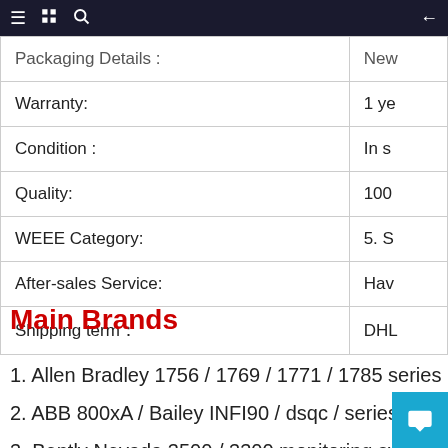≡ 📋 🔍 ←
| Property | Value |
| --- | --- |
| Packaging Details : | New |
| Warranty: | 1 ye |
| Condition : | In s |
| Quality: | 100 |
| WEEE Category: | 5. S |
| After-sales Service: | Hav |
| Shipping term： | DHL |
Main Brands
1. Allen Bradley 1756 / 1769 / 1771 / 1785 series
2. ABB 800xA / Bailey INFI90 / dsqc / series
3. Bently Nevada 3500 / 3300 monitoring system